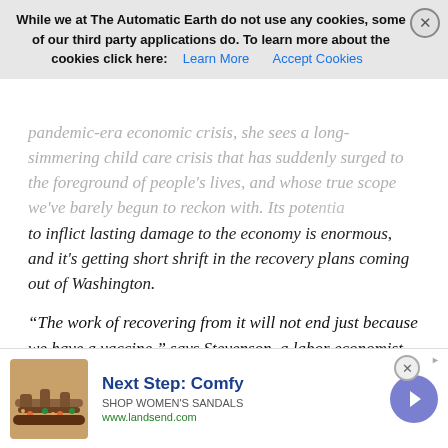pandemic-era economic crisis, she sees a long-simmering child care crisis that has suddenly surged to the foreground of people's lives, and whose true scope we've barely begun to reckon with. Its potential to inflict lasting damage to the economy is enormous, and it's getting short shrift in the recovery plans coming out of Washington.
"The work of recovering from it will not end just because we have a vaccine," says Stevenson, a labor economist at the University of Michigan and former member of President Barack Obama's Council of Economic Advisers. "We are making choices right now about where we will be as an economy in 20 years, in 30 years, based on what we do with these kids." Among those most likely to be affected are working mothers, who shoulder an outsize share of child care responsibilities, and have suddenly had far more work dropped in their laps. Women already need to make difficult choices between work advancement and their family roles, which can bring down their incomes over time; Stevenson expects the crisis to make that conflict sharply worse: "The impact of the child care crisis on women's
[Figure (other): Advertisement banner for Lands' End featuring a women's sandal. Text reads 'Next Step: Comfy', 'SHOP WOMEN'S SANDALS', 'www.landsend.com'. Shows product image of a strappy sandal and a blue circular arrow button.]